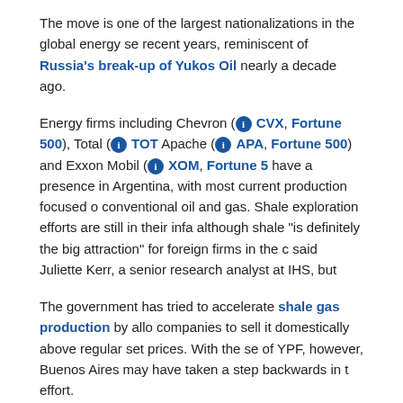The move is one of the largest nationalizations in the global energy sector in recent years, reminiscent of Russia's break-up of Yukos Oil nearly a decade ago.
Energy firms including Chevron (CVX, Fortune 500), Total (TOT), Apache (APA, Fortune 500) and Exxon Mobil (XOM, Fortune 500) have a presence in Argentina, with most current production focused on conventional oil and gas. Shale exploration efforts are still in their infancy, although shale "is definitely the big attraction" for foreign firms in the country, said Juliette Kerr, a senior research analyst at IHS, but
The government has tried to accelerate shale gas production by allowing companies to sell it domestically above regular set prices. With the seizure of YPF, however, Buenos Aires may have taken a step backwards in that effort.
"This will raise serious doubts about the rule of law and contract sanctity," Eurasia Group Latin America analyst Daniel Kerner said in a research
"[T]his will make it hard for Argentina to attract needed investment to develop its promising unconventional resources."